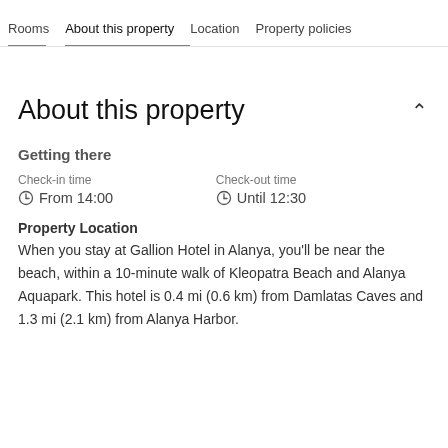Rooms   About this property   Location   Property policies
About this property
Getting there
Check-in time
From 14:00
Check-out time
Until 12:30
Property Location
When you stay at Gallion Hotel in Alanya, you'll be near the beach, within a 10-minute walk of Kleopatra Beach and Alanya Aquapark. This hotel is 0.4 mi (0.6 km) from Damlatas Caves and 1.3 mi (2.1 km) from Alanya Harbor.